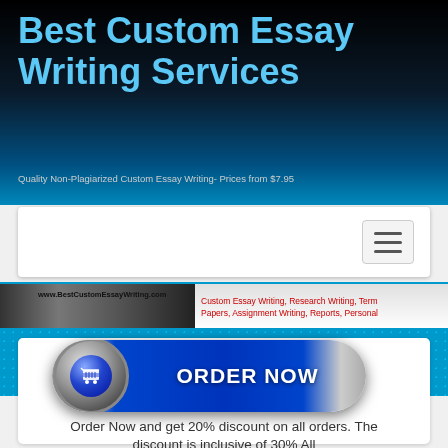Best Custom Essay Writing Services
Quality Non-Plagiarized Custom Essay Writing- Prices from $7.95
[Figure (screenshot): White navigation bar with hamburger menu icon on the right]
[Figure (screenshot): Website banner showing www.BestCustomEssayWriting.com with text: Custom Essay Writing, Research Writing, Term Papers, Assignment Writing, Reports, Personal]
[Figure (illustration): Blue ORDER NOW button with shopping cart icon]
Order Now and get 20% discount on all orders. The discount is inclusive of 30% All